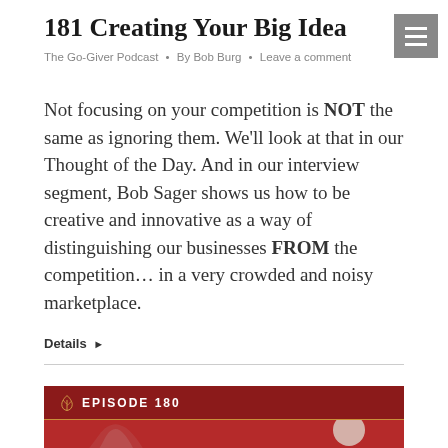181 Creating Your Big Idea
The Go-Giver Podcast · By Bob Burg · Leave a comment
Not focusing on your competition is NOT the same as ignoring them. We'll look at that in our Thought of the Day. And in our interview segment, Bob Sager shows us how to be creative and innovative as a way of distinguishing our businesses FROM the competition… in a very crowded and noisy marketplace.
Details ▶
[Figure (other): Red podcast episode card showing 'EPISODE 180' label with a decorative leaf logo and partial image of a person below]